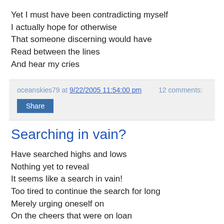Yet I must have been contradicting myself
I actually hope for otherwise
That someone discerning would have
Read between the lines
And hear my cries
oceanskies79 at 9/22/2005 11:54:00 pm   12 comments:
Share
Searching in vain?
Have searched highs and lows
Nothing yet to reveal
It seems like a search in vain!
Too tired to continue the search for long
Merely urging oneself on
On the cheers that were on loan